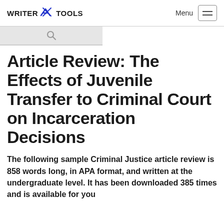WRITER TOOLS  Menu
Article Review: The Effects of Juvenile Transfer to Criminal Court on Incarceration Decisions
The following sample Criminal Justice article review is 858 words long, in APA format, and written at the undergraduate level. It has been downloaded 385 times and is available for you